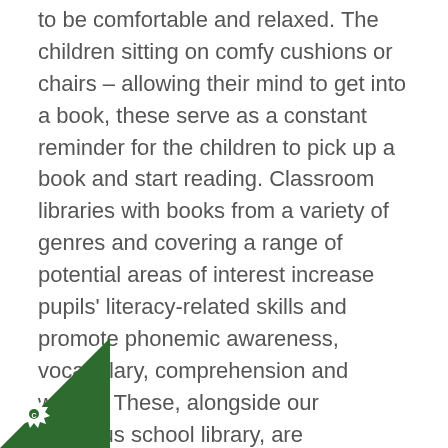to be comfortable and relaxed. The children sitting on comfy cushions or chairs – allowing their mind to get into a book, these serve as a constant reminder for the children to pick up a book and start reading. Classroom libraries with books from a variety of genres and covering a range of potential areas of interest increase pupils' literacy-related skills and promote phonemic awareness, vocabulary, comprehension and writing. These, alongside our spacious school library, are accessible, welcoming places that are stocked with good-quality, appropriate books. Each year group has a dedicated Library session each week for them to share a range of books together and take Library books to read at home.